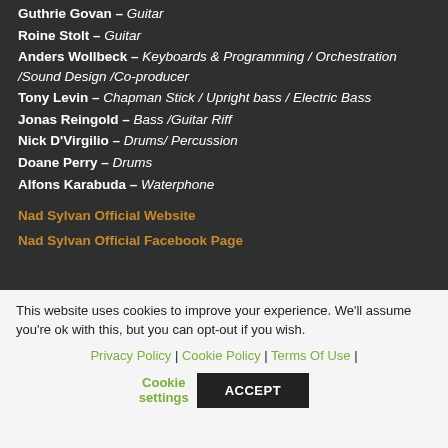Guthrie Govan – Guitar
Roine Stolt – Guitar
Anders Wollbeck – Keyboards & Programming / Orchestration /Sound Design /Co-producer
Tony Levin – Chapman Stick / Upright bass / Electric Bass
Jonas Reingold – Bass /Guitar Riff
Nick D'Virgilio – Drums/ Percussion
Doane Perry – Drums
Alfons Karabuda – Waterphone
Nad Sylvan Official Website
Nad Sylvan Official Facebook Page
This website uses cookies to improve your experience. We'll assume you're ok with this, but you can opt-out if you wish. Privacy Policy | Cookie Policy | Terms Of Use | Cookie settings ACCEPT